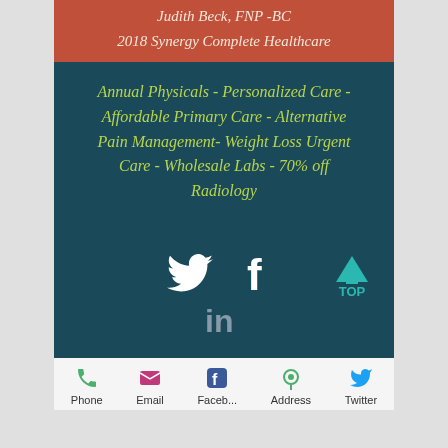Judith Beck, FNP -BC
2018 Synergy Complete Healthcare
Annual Physicals - Personalized Care - Affordable Primary Care - Alternative Pain Management- Weight Loss Urgent Care - Wholesale Labs - 70% off Radiology
[Figure (infographic): Twitter bird icon, Facebook 'f' icon, LinkedIn 'in' icon, and a teal upward arrow with 'TOP' label]
Phone  Email  Faceb...  Address  Twitter